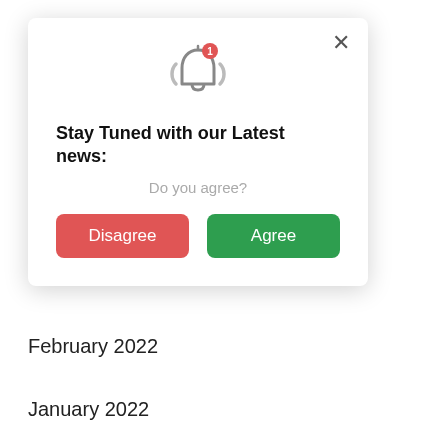[Figure (screenshot): Notification modal popup with bell icon, title 'Stay Tuned with our Latest news:', subtitle 'Do you agree?', and two buttons: Disagree (red) and Agree (green). A close (X) button is in the top right corner.]
February 2022
January 2022
December 2021
November 2021
October 2021
September 2021